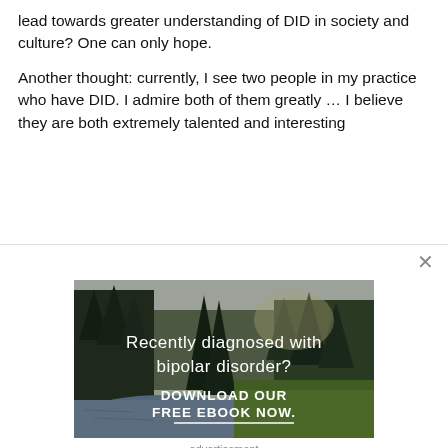lead towards greater understanding of DID in society and culture? One can only hope.
Another thought: currently, I see two people in my practice who have DID. I admire both of them greatly ... I believe they are both extremely talented and interesting
[Figure (photo): Forest landscape with river and pine trees, advertisement overlay reading 'Recently diagnosed with bipolar disorder? DOWNLOAD OUR FREE EBOOK NOW.' with a white underline]
advertisement